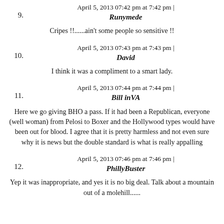9. April 5, 2013 07:42 pm at 7:42 pm | Runymede
Cripes !!......ain't some people so sensitive !!
10. April 5, 2013 07:43 pm at 7:43 pm | David
I think it was a compliment to a smart lady.
11. April 5, 2013 07:44 pm at 7:44 pm | Bill inVA
Here we go giving BHO a pass. If it had been a Republican, everyone (well woman) from Pelosi to Boxer and the Hollywood types would have been out for blood. I agree that it is pretty harmless and not even sure why it is news but the double standard is what is really appalling
12. April 5, 2013 07:46 pm at 7:46 pm | PhillyBuster
Yep it was inappropriate, and yes it is no big deal. Talk about a mountain out of a molehill......